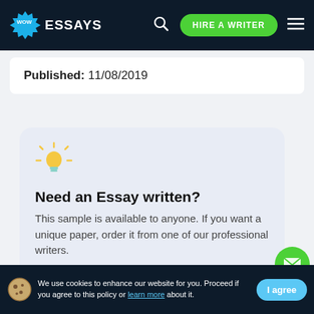[Figure (logo): WowEssays logo with star badge and navigation bar including search icon, Hire a Writer button, and hamburger menu]
Published: 11/08/2019
Need an Essay written?
This sample is available to anyone. If you want a unique paper, order it from one of our professional writers.
ORDER PAPER LIKE THIS
We use cookies to enhance our website for you. Proceed if you agree to this policy or learn more about it.